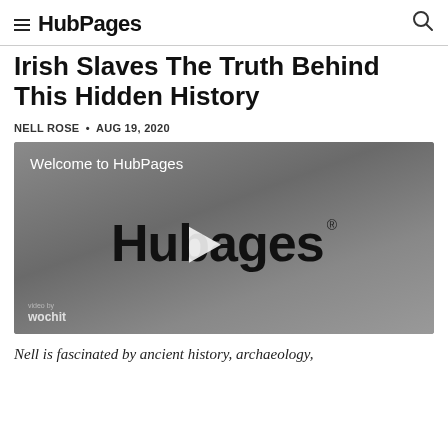HubPages
Irish Slaves The Truth Behind This Hidden History
NELL ROSE • AUG 19, 2020
[Figure (screenshot): Video player showing HubPages welcome screen with HubPages logo, play button, and wochit branding in bottom left corner]
Nell is fascinated by ancient history, archaeology,